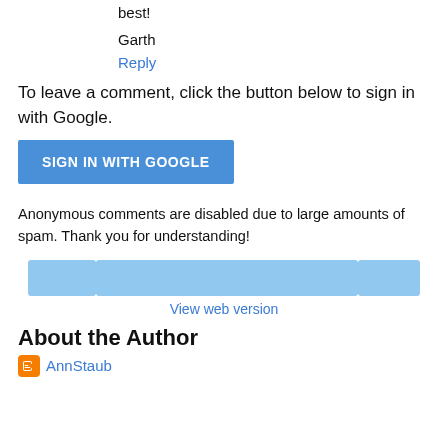best!
Garth
Reply
To leave a comment, click the button below to sign in with Google.
[Figure (other): SIGN IN WITH GOOGLE button, blue rectangle]
Anonymous comments are disabled due to large amounts of spam. Thank you for understanding!
[Figure (other): Navigation bar with three blue placeholder rectangles: left small, center wide, right small]
View web version
About the Author
AnnStaub